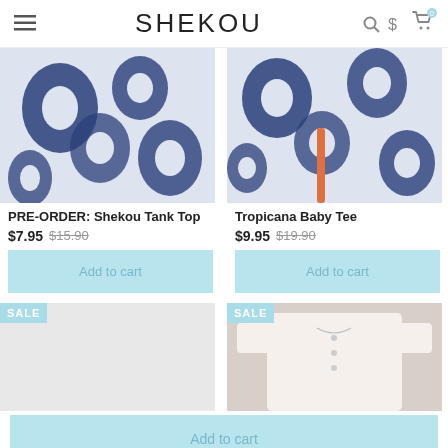SHEKOU
[Figure (photo): Blue and white floral print tank top product image]
PRE-ORDER: Shekou Tank Top
$7.95 $15.90
[Figure (photo): Blue and white floral print baby tee product image]
Tropicana Baby Tee
$9.95 $19.90
[Figure (photo): SALE product image placeholder (light grey)]
[Figure (photo): SALE product image showing white button-up short sleeve top]